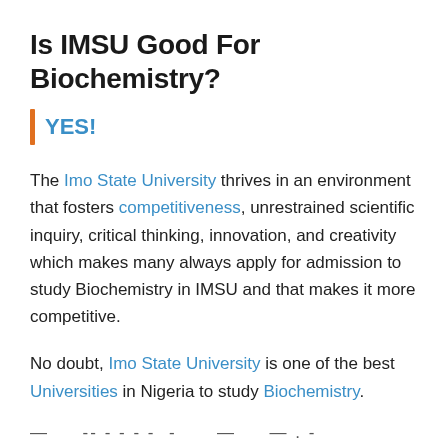Is IMSU Good For Biochemistry?
YES!
The Imo State University thrives in an environment that fosters competitiveness, unrestrained scientific inquiry, critical thinking, innovation, and creativity which makes many always apply for admission to study Biochemistry in IMSU and that makes it more competitive.
No doubt, Imo State University is one of the best Universities in Nigeria to study Biochemistry.
— -- - - - - -       —       -. -